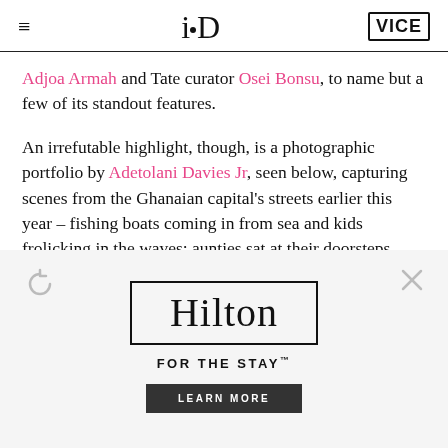i-D | VICE
Adjoa Armah and Tate curator Osei Bonsu, to name but a few of its standout features.
An irrefutable highlight, though, is a photographic portfolio by Adetolani Davies Jr, seen below, capturing scenes from the Ghanaian capital's streets earlier this year – fishing boats coming in from sea and kids frolicking in the waves; aunties sat at their doorsteps while teenagers skate by; abandoned forts turned museums, and bustling markets
[Figure (other): Hilton advertisement with logo, tagline FOR THE STAY, and LEARN MORE button. Refresh and close icons visible.]